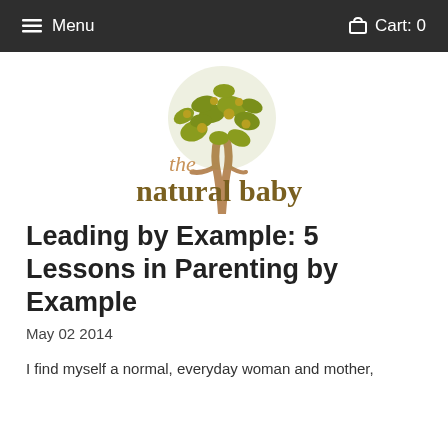≡ Menu   🛒 Cart: 0
[Figure (logo): The Natural Baby logo: an olive-colored tree illustration with fruit and leaves above the text 'the natural baby' in brown/olive serif/sans font]
Leading by Example: 5 Lessons in Parenting by Example
May 02 2014
I find myself a normal, everyday woman and mother,